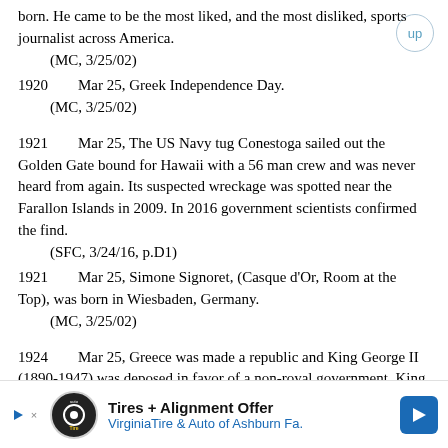born. He came to be the most liked, and the most disliked, sports journalist across America.
    (MC, 3/25/02)
1920        Mar 25, Greek Independence Day.
    (MC, 3/25/02)
1921        Mar 25, The US Navy tug Conestoga sailed out the Golden Gate bound for Hawaii with a 56 man crew and was never heard from again. Its suspected wreckage was spotted near the Farallon Islands in 2009. In 2016 government scientists confirmed the find.
    (SFC, 3/24/16, p.D1)
1921        Mar 25, Simone Signoret, (Casque d'Or, Room at the Top), was born in Wiesbaden, Germany.
    (MC, 3/25/02)
1924        Mar 25, Greece was made a republic and King George II (1890-1947) was deposed in favor of a non-royal government. King George was king from 1922-1923 and from 1935-1947.
[Figure (infographic): Advertisement banner for Tires + Alignment Offer from Virginia Tire & Auto of Ashburn Fa.]